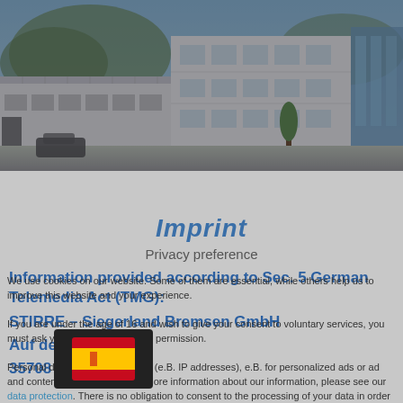[Figure (photo): Exterior photo of STIRRE Siegerland Bremsen GmbH building – a modern white industrial/office building complex with blue glass accents, parking area, and trees in background]
Imprint
Privacy preference
Information provided according to Sec. 5 German Telemedia Act (TMG):
We use cookies on our website. Some of them are essential, while others help us to improve this website and your experience.
If you are under the age of 16 and wish to give your consent to voluntary services, you must ask your legal guardians for permission.
STIRRE – Siegerland Bremsen GmbH
Auf der Stücke 1-5
35708 Haiger
Personal data may be processed (e.B. IP addresses), e.B. for personalized ads or ad and content measurement. For more information about our information, please see our data protection. There is no obligation to consent to the processing of your data in order to be able